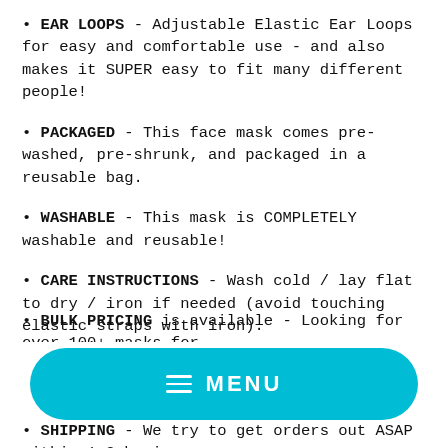• EAR LOOPS - Adjustable Elastic Ear Loops for easy and comfortable use - and also makes it SUPER easy to fit many different people!
• PACKAGED - This face mask comes pre-washed, pre-shrunk, and packaged in a reusable bag.
• WASHABLE - This mask is COMPLETELY washable and reusable!
• CARE INSTRUCTIONS - Wash cold / lay flat to dry / iron if needed (avoid touching elastic straps with iron).
• BULK PRICING is available - Looking for over 100+ masks for
• SHIPPING - We try to get orders out ASAP within 1-2 business